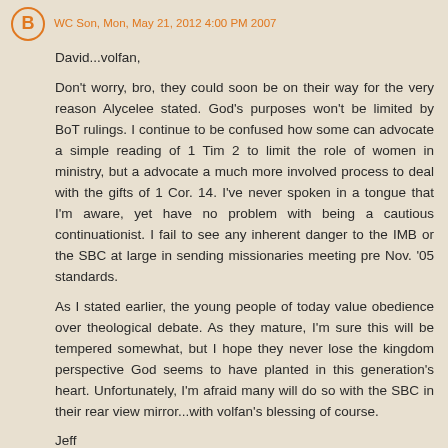WC Son, Mon, May 21, 2012 4:00 PM 2007
David...volfan,
Don't worry, bro, they could soon be on their way for the very reason Alycelee stated. God's purposes won't be limited by BoT rulings. I continue to be confused how some can advocate a simple reading of 1 Tim 2 to limit the role of women in ministry, but a advocate a much more involved process to deal with the gifts of 1 Cor. 14. I've never spoken in a tongue that I'm aware, yet have no problem with being a cautious continuationist. I fail to see any inherent danger to the IMB or the SBC at large in sending missionaries meeting pre Nov. '05 standards.
As I stated earlier, the young people of today value obedience over theological debate. As they mature, I'm sure this will be tempered somewhat, but I hope they never lose the kingdom perspective God seems to have planted in this generation's heart. Unfortunately, I'm afraid many will do so with the SBC in their rear view mirror...with volfan's blessing of course.
Jeff